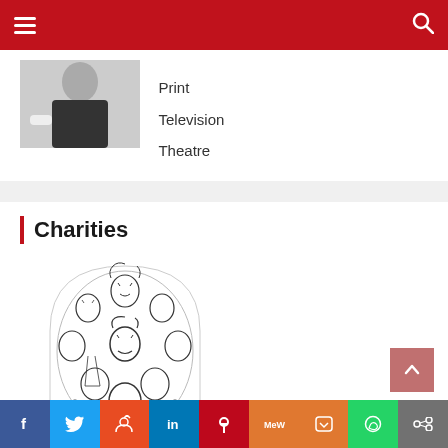Navigation header with menu and search
[Figure (photo): Person in dark shirt holding white object, partial view]
Print
Television
Theatre
Charities
[Figure (illustration): Black and white caricature illustration of many faces arranged in an arch/oval shape]
Social sharing bar: Facebook, Twitter, Reddit, LinkedIn, Pinterest, MeWe, Mix, WhatsApp, Share